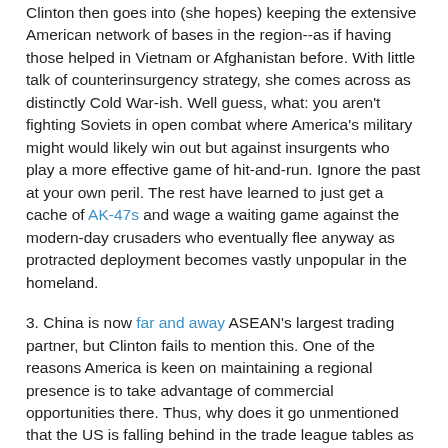Clinton then goes into (she hopes) keeping the extensive American network of bases in the region--as if having those helped in Vietnam or Afghanistan before. With little talk of counterinsurgency strategy, she comes across as distinctly Cold War-ish. Well guess, what: you aren't fighting Soviets in open combat where America's military might would likely win out but against insurgents who play a more effective game of hit-and-run. Ignore the past at your own peril. The rest have learned to just get a cache of AK-47s and wage a waiting game against the modern-day crusaders who eventually flee anyway as protracted deployment becomes vastly unpopular in the homeland.
3. China is now far and away ASEAN's largest trading partner, but Clinton fails to mention this. One of the reasons America is keen on maintaining a regional presence is to take advantage of commercial opportunities there. Thus, why does it go unmentioned that the US is falling behind in the trade league tables as a reason to redouble economic efforts in Asia?
4. She goes a lot into how the Asia-Pacific Economic Cooperation (APEC) works as a (US-led) engine for...